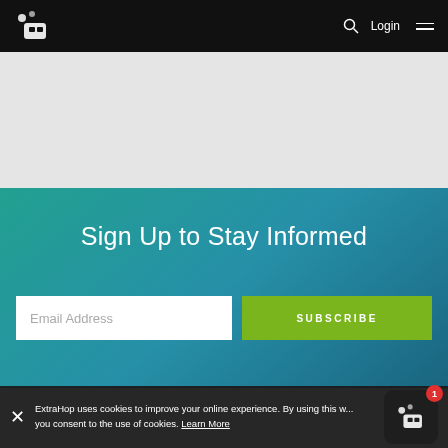ExtraHop logo, search, Login, menu
[Figure (screenshot): Grey banner/hero area below navigation]
Sign Up to Stay Informed
Email Address   SUBSCRIBE
ExtraHop uses cookies to improve your online experience. By using this w... you consent to the use of cookies. Learn More